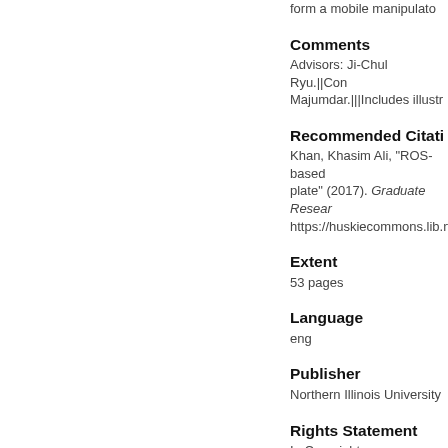form a mobile manipulato
Comments
Advisors: Ji-Chul Ryu.||Con Majumdar.|||Includes illust
Recommended Citati
Khan, Khasim Ali, "ROS-based plate" (2017). Graduate Resear https://huskiecommons.lib.niu
Extent
53 pages
Language
eng
Publisher
Northern Illinois University
Rights Statement
In Copyright
Rights Statement 2
NIU theses are protecte Commons for any purpos